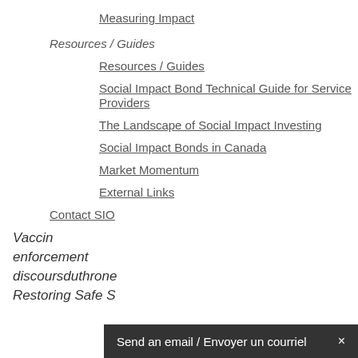Measuring Impact
Resources / Guides
Resources / Guides
Social Impact Bond Technical Guide for Service Providers
The Landscape of Social Impact Investing
Social Impact Bonds in Canada
Market Momentum
External Links
Contact SIO
Vaccin
enforcement
discoursduthrone
Restoring Safe S
Send an email / Envoyer un courriel